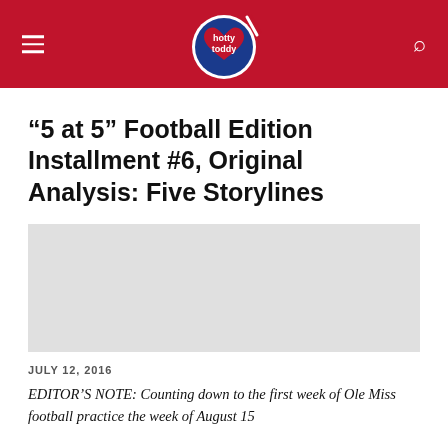hotty toddy [logo]
“5 at 5” Football Edition Installment #6, Original Analysis: Five Storylines
JULY 12, 2016
EDITOR’S NOTE: Counting down to the first week of Ole Miss football practice the week of August 15